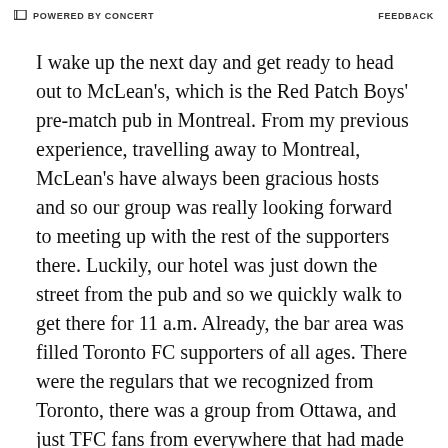POWERED BY CONCERT | FEEDBACK
I wake up the next day and get ready to head out to McLean's, which is the Red Patch Boys' pre-match pub in Montreal. From my previous experience, travelling away to Montreal, McLean's have always been gracious hosts and so our group was really looking forward to meeting up with the rest of the supporters there. Luckily, our hotel was just down the street from the pub and so we quickly walk to get there for 11 a.m. Already, the bar area was filled Toronto FC supporters of all ages. There were the regulars that we recognized from Toronto, there was a group from Ottawa, and just TFC fans from everywhere that had made into the city.
Logo and social share icons